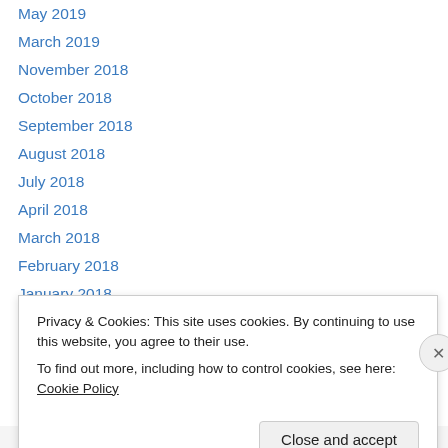May 2019
March 2019
November 2018
October 2018
September 2018
August 2018
July 2018
April 2018
March 2018
February 2018
January 2018
December 2017
November 2017
October 2017
Privacy & Cookies: This site uses cookies. By continuing to use this website, you agree to their use.
To find out more, including how to control cookies, see here: Cookie Policy
Close and accept